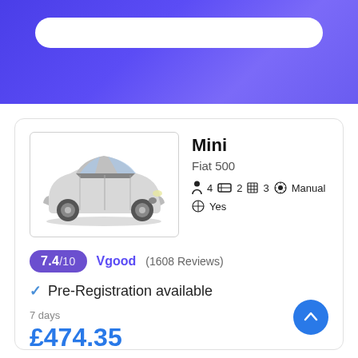[Figure (screenshot): Blue gradient header banner with a white rounded search bar]
[Figure (photo): White Fiat 500 mini car photo in a bordered box]
Mini
Fiat 500
4  2  3  Manual  Yes
7.4/10  Vgood (1608 Reviews)
✓ Pre-Registration available
7 days
£474.35
SELECT